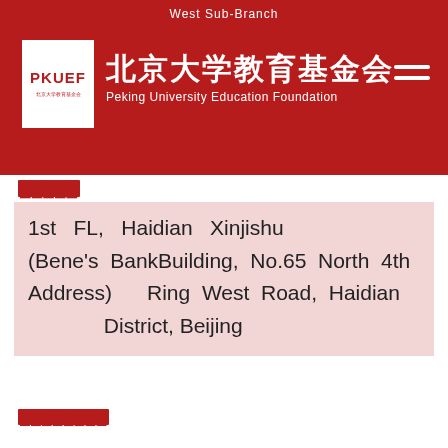West Sub-Branch
[Figure (logo): PKUEF logo with white background, red text showing PKUEF abbreviation, Chinese text 北京大学教育基金会, English text Peking University Education Foundation, on dark red header background]
开户网点 (Address label in Chinese, redacted)
1st FL, Haidian Xinjishu (Bene's BankBuilding, No.65 North 4th Address) Ring West Road, Haidian District, Beijing
国际汇款代码 (Swift Code label in Chinese, redacted) (Swift Code) ICBKCNBJBJM
联行行号 (CNAPS Code label in Chinese, redacted) (CNAPS Code) 102100000458